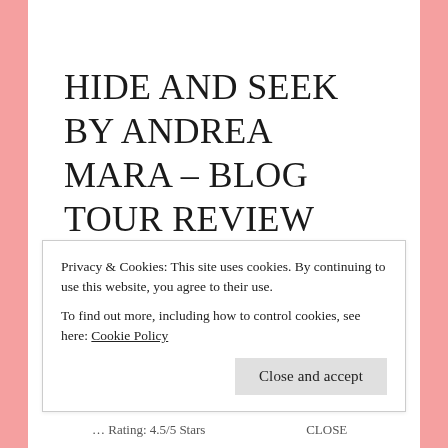HIDE AND SEEK BY ANDREA MARA – BLOG TOUR REVIEW
Privacy & Cookies: This site uses cookies. By continuing to use this website, you agree to their use.
To find out more, including how to control cookies, see here: Cookie Policy
Close and accept